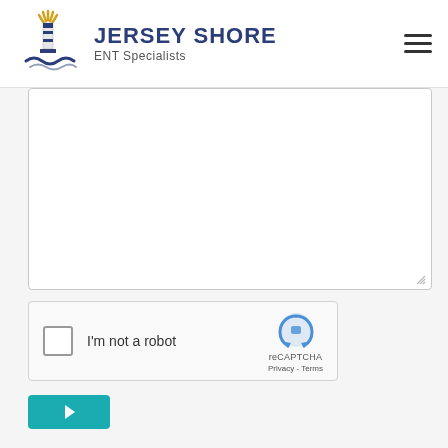Jersey Shore ENT Specialists
[Figure (screenshot): Website contact form showing a large blank text area input field with a resize handle in the bottom right corner, a reCAPTCHA checkbox widget labeled 'I'm not a robot' with the reCAPTCHA logo, Privacy and Terms links, and a teal submit button with a play arrow icon at the bottom.]